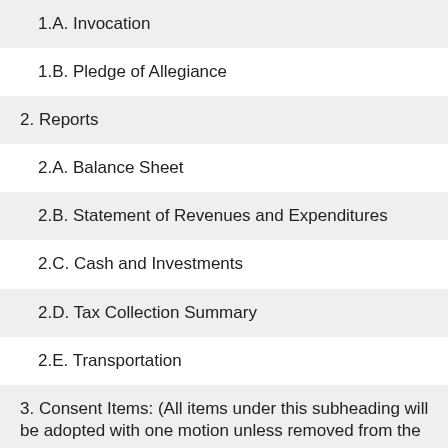1.A. Invocation
1.B. Pledge of Allegiance
2. Reports
2.A. Balance Sheet
2.B. Statement of Revenues and Expenditures
2.C. Cash and Investments
2.D. Tax Collection Summary
2.E. Transportation
3. Consent Items: (All items under this subheading will be adopted with one motion unless removed from the